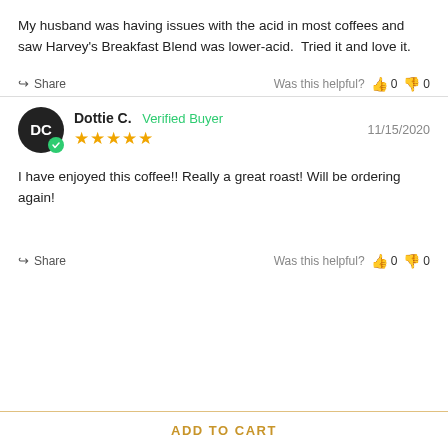My husband was having issues with the acid in most coffees and saw Harvey's Breakfast Blend was lower-acid.  Tried it and love it.
Share   Was this helpful?  👍 0  👎 0
Dottie C.  Verified Buyer   11/15/2020  ★★★★★
I have enjoyed this coffee!! Really a great roast! Will be ordering again!
Share   Was this helpful?  👍 0  👎 0
ADD TO CART